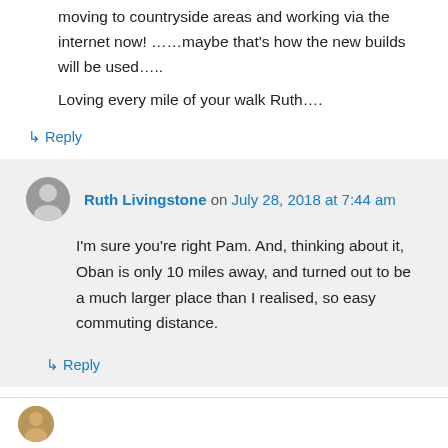moving to countryside areas and working via the internet now! ……maybe that's how the new builds will be used…..
Loving every mile of your walk Ruth….
↳ Reply
Ruth Livingstone on July 28, 2018 at 7:44 am
I'm sure you're right Pam. And, thinking about it, Oban is only 10 miles away, and turned out to be a much larger place than I realised, so easy commuting distance.
↳ Reply